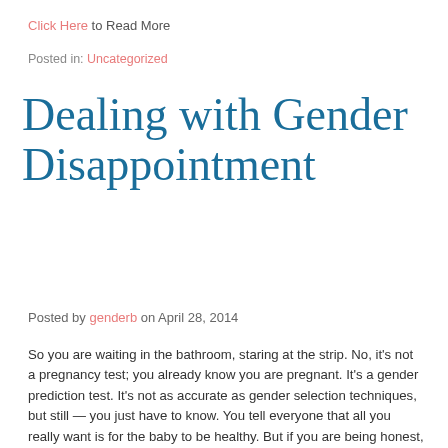Click Here to Read More
Posted in: Uncategorized
Dealing with Gender Disappointment
Posted by genderb on April 28, 2014
So you are waiting in the bathroom, staring at the strip. No, it’s not a pregnancy test; you already know you are pregnant. It’s a gender prediction test. It’s not as accurate as gender selection techniques, but still — you just have to know. You tell everyone that all you really want is for the baby to be healthy. But if you are being honest, you know that you have a preference. You look at the test again … wrong color. You are in shock.